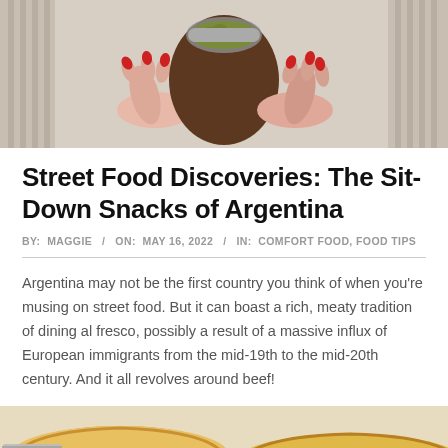[Figure (photo): Hands with red nail polish holding a mate gourd with yerba mate herb, striped fabric background]
Street Food Discoveries: The Sit-Down Snacks of Argentina
BY: MAGGIE / ON: MAY 16, 2022 / IN: COMFORT FOOD, FOOD TIPS
Argentina may not be the first country you think of when you're musing on street food. But it can boast a rich, meaty tradition of dining al fresco, possibly a result of a massive influx of European immigrants from the mid-19th to the mid-20th century. And it all revolves around beef!
[Figure (photo): Close-up of golden baked empanadas on a plate with a knife]